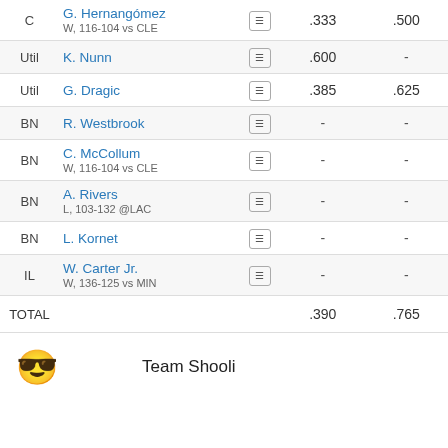| Pos | Player |  | Stat1 | Stat2 |
| --- | --- | --- | --- | --- |
| C | G. Hernangómez
W, 116-104 vs CLE |  | .333 | .500 |
| Util | K. Nunn |  | .600 | - |
| Util | G. Dragic |  | .385 | .625 |
| BN | R. Westbrook |  | - | - |
| BN | C. McCollum
W, 116-104 vs CLE |  | - | - |
| BN | A. Rivers
L, 103-132 @LAC |  | - | - |
| BN | L. Kornet |  | - | - |
| IL | W. Carter Jr.
W, 136-125 vs MIN |  | - | - |
| TOTAL |  |  | .390 | .765 |
Team Shooli